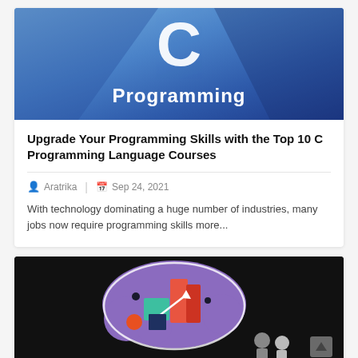[Figure (illustration): C Programming banner with large white C letter and 'Programming' text on blue/dark blue geometric background]
Upgrade Your Programming Skills with the Top 10 C Programming Language Courses
Aratrika | Sep 24, 2021
With technology dominating a huge number of industries, many jobs now require programming skills more...
[Figure (illustration): Dark background illustration showing a purple cloud/brain shape filled with colorful geometric shapes (red rectangles, teal squares, arrows), with two small person figures at the bottom right]